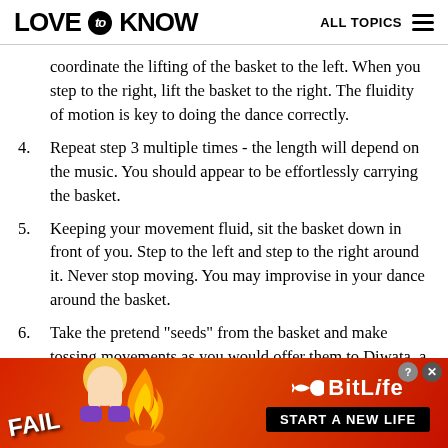LOVE to KNOW   ALL TOPICS
coordinate the lifting of the basket to the left. When you step to the right, lift the basket to the right. The fluidity of motion is key to doing the dance correctly.
4. Repeat step 3 multiple times - the length will depend on the music. You should appear to be effortlessly carrying the basket.
5. Keeping your movement fluid, sit the basket down in front of you. Step to the left and step to the right around it. Never stop moving. You may improvise in your dance around the basket.
6. Take the pretend "seeds" from the basket and make tossing movements as you would offer them to Diwata, a dryad-like spirit in Philippine mythology.
[Figure (screenshot): Advertisement banner for BitLife game with 'FAIL' text, cartoon character, flame graphic, BitLife logo with sperm icon, and 'START A NEW LIFE' black button on red background. Close and question mark buttons in top right.]